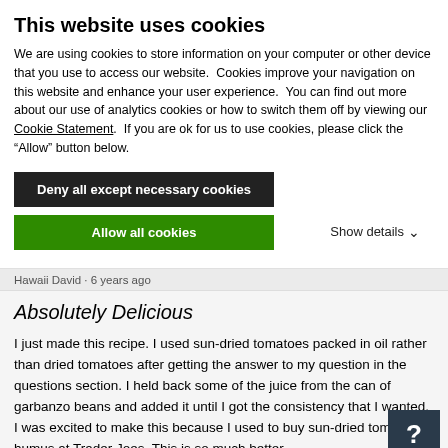This website uses cookies
We are using cookies to store information on your computer or other device that you use to access our website. Cookies improve your navigation on this website and enhance your user experience. You can find out more about our use of analytics cookies or how to switch them off by viewing our Cookie Statement. If you are ok for us to use cookies, please click the “Allow” button below.
Deny all except necessary cookies
Allow all cookies
Show details
Hawaii David · 6 years ago
Absolutely Delicious
I just made this recipe. I used sun-dried tomatoes packed in oil rather than dried tomatoes after getting the answer to my question in the questions section. I held back some of the juice from the can of garbanzo beans and added it until I got the consistency that I wanted. I was excited to make this because I used to buy sun-dried tomato humus at Trader Joes. This is so much better.
[Figure (other): Dark speech bubble icon with a question mark]